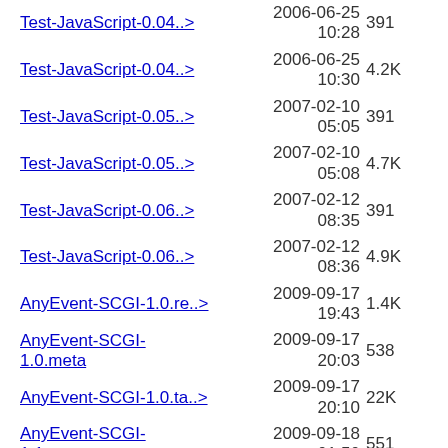Test-JavaScript-0.04..>  2006-06-25 10:28  391
Test-JavaScript-0.04..>  2006-06-25 10:30  4.2K
Test-JavaScript-0.05..>  2007-02-10 05:05  391
Test-JavaScript-0.05..>  2007-02-10 05:08  4.7K
Test-JavaScript-0.06..>  2007-02-12 08:35  391
Test-JavaScript-0.06..>  2007-02-12 08:36  4.9K
AnyEvent-SCGI-1.0.re..>  2009-09-17 19:43  1.4K
AnyEvent-SCGI-1.0.meta  2009-09-17 20:03  538
AnyEvent-SCGI-1.0.ta..>  2009-09-17 20:10  22K
AnyEvent-SCGI-1.1.meta  2009-09-18 01:50  551
AnyEvent-SCGI-1.1.re..>  2009-09-18 01:57  3.7K
2009-09-18